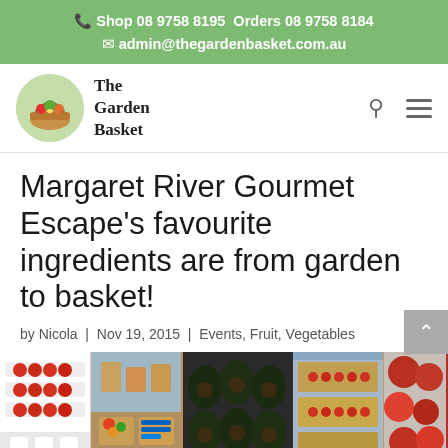Shop 08 9758 8195 Orders 08 9758 8184
admin@thegardenbasket.com.au
[Figure (logo): The Garden Basket logo with vegetable basket and text]
Margaret River Gourmet Escape’s favourite ingredients are from garden to basket!
by Nicola | Nov 19, 2015 | Events, Fruit, Vegetables
[Figure (photo): Five side-by-side photos of fresh produce: tomatoes, assorted vegetables in boxes, avocados, small tomatoes in trays, and heirloom tomatoes]